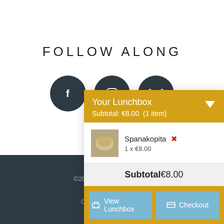FOLLOW ALONG
[Figure (illustration): Three dark circular social media icons: Facebook (f), Instagram (camera), and TripAdvisor (owl eyes) side by side]
©2017 Small World Cate... Amsterd...
CONTACT TH...
[Figure (screenshot): Lunchbox popup widget showing: Your Lunchbox header in yellow/golden background, Subtotal: €8.00 (1 item), item Spanakopita 1x €8.00 with food thumbnail, Subtotal €8.00, View Lunchbox and Checkout buttons in blue]